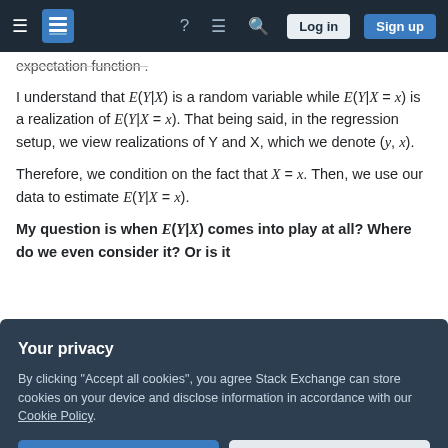Stack Exchange navigation bar with hamburger menu, logo, help, chat, search, Log in, Sign up
expectation function .
I understand that E(Y|X) is a random variable while E(Y|X = x) is a realization of E(Y|X = x). That being said, in the regression setup, we view realizations of Y and X, which we denote (y, x).
Therefore, we condition on the fact that X = x. Then, we use our data to estimate E(Y|X = x).
My question is when E(Y|X) comes into play at all? Where do we even consider it? Or is it
Your privacy
By clicking "Accept all cookies", you agree Stack Exchange can store cookies on your device and disclose information in accordance with our Cookie Policy.
related, yet different objects, one is random while the other is deterministic.